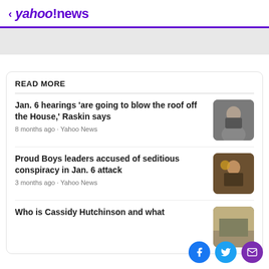< yahoo!news
READ MORE
Jan. 6 hearings 'are going to blow the roof off the House,' Raskin says
8 months ago · Yahoo News
Proud Boys leaders accused of seditious conspiracy in Jan. 6 attack
3 months ago · Yahoo News
Who is Cassidy Hutchinson and what